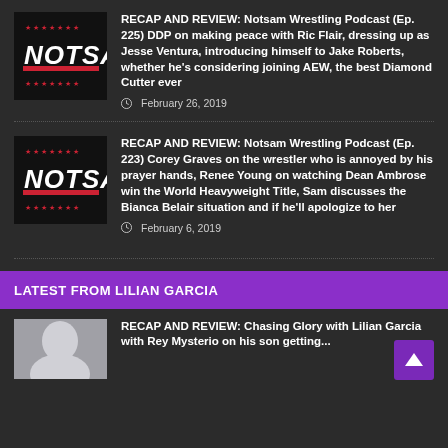[Figure (logo): Notsam Wrestling Podcast logo - black background with NOTSAM text in white/red style with stars]
RECAP AND REVIEW: Notsam Wrestling Podcast (Ep. 225) DDP on making peace with Ric Flair, dressing up as Jesse Ventura, introducing himself to Jake Roberts, whether he's considering joining AEW, the best Diamond Cutter ever
February 26, 2019
[Figure (logo): Notsam Wrestling Podcast logo - black background with NOTSAM text in white/red style with stars]
RECAP AND REVIEW: Notsam Wrestling Podcast (Ep. 223) Corey Graves on the wrestler who is annoyed by his prayer hands, Renee Young on watching Dean Ambrose win the World Heavyweight Title, Sam discusses the Bianca Belair situation and if he'll apologize to her
February 6, 2019
LATEST FROM LILIAN GARCIA
[Figure (photo): Lilian Garcia photo - blonde woman]
RECAP AND REVIEW: Chasing Glory with Lilian Garcia with Rey Mysterio on his son getting...